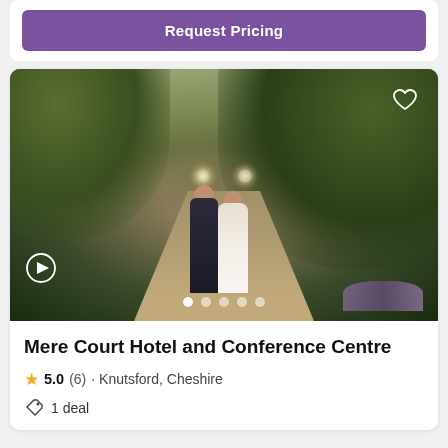Request Pricing
[Figure (photo): Wedding couple (bride and groom) walking hand-in-hand along a tree-lined driveway with fairy lights and lavender flowers, at Mere Court Hotel and Conference Centre]
Mere Court Hotel and Conference Centre
5.0 (6) · Knutsford, Cheshire
1 deal